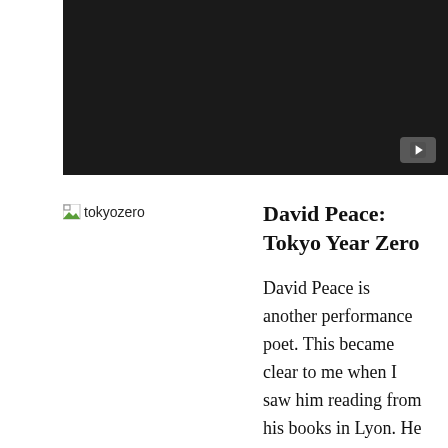[Figure (screenshot): Embedded video player with dark/black background and a YouTube play button in the bottom right corner]
[Figure (photo): Broken image placeholder with alt text 'tokyozero']
David Peace: Tokyo Year Zero
David Peace is another performance poet. This became clear to me when I saw him reading from his books in Lyon. He has a sensitive ear, so highly tuned to oral storytelling and any kind of sound effect. So many will find the